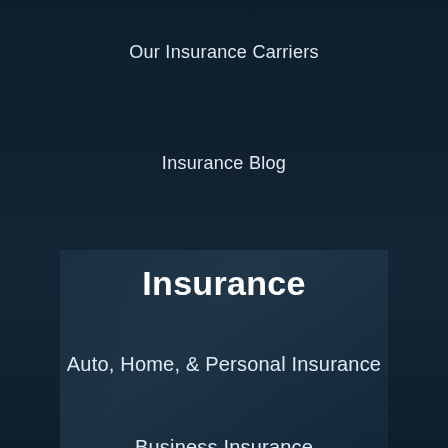Our Insurance Carriers
Insurance Blog
Insurance
Auto, Home, & Personal Insurance
Business Insurance
Life Insurance
Policy Service